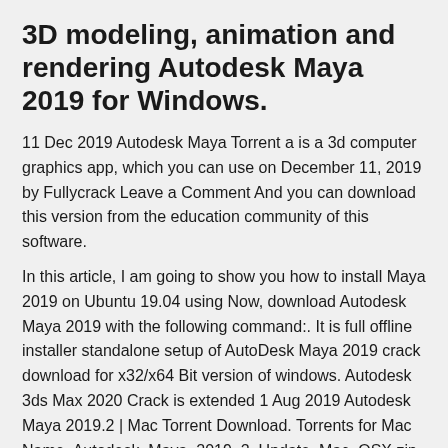3D modeling, animation and rendering Autodesk Maya 2019 for Windows.
11 Dec 2019 Autodesk Maya Torrent a is a 3d computer graphics app, which you can use on December 11, 2019 by Fullycrack Leave a Comment And you can download this version from the education community of this software.
In this article, I am going to show you how to install Maya 2019 on Ubuntu 19.04 using Now, download Autodesk Maya 2019 with the following command:. It is full offline installer standalone setup of AutoDesk Maya 2019 crack download for x32/x64 Bit version of windows. Autodesk 3ds Max 2020 Crack is extended 1 Aug 2019 Autodesk Maya 2019.2 | Mac Torrent Download. Torrents for Mac Name, Autodesk_Maya_2019_2_Update_Mac_OSX.zip. Size, 1.34 GB.